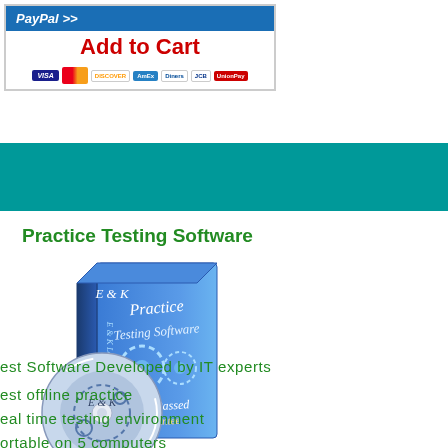[Figure (screenshot): PayPal Add to Cart button with accepted payment card logos (Visa, MasterCard, Discover, AmEx, Diners, JCB, UnionPay)]
[Figure (illustration): Practice Testing Software box with CD, showing 'Practice Testing Software', 'E&K', '100% Passed Guarantee' branding]
Practice Testing Software
Best Software Developed by IT experts
Best offline practice
Real time testing environment
Portable on 5 computers